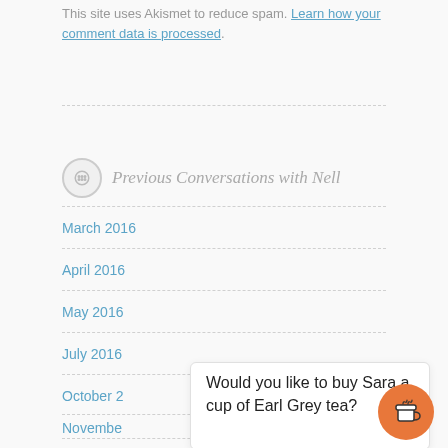This site uses Akismet to reduce spam. Learn how your comment data is processed.
Previous Conversations with Nell
March 2016
April 2016
May 2016
July 2016
October 2016
November 2016
December 2016
Would you like to buy Sara a cup of Earl Grey tea?
[Figure (illustration): Orange circle button with a coffee cup icon]